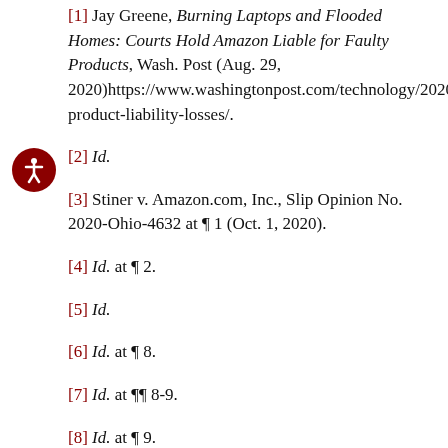[1] Jay Greene, Burning Laptops and Flooded Homes: Courts Hold Amazon Liable for Faulty Products, Wash. Post (Aug. 29, 2020)https://www.washingtonpost.com/technology/2020/08/29/amazon-product-liability-losses/.
[2] Id.
[3] Stiner v. Amazon.com, Inc., Slip Opinion No. 2020-Ohio-4632 at ¶ 1 (Oct. 1, 2020).
[4] Id. at ¶ 2.
[5] Id.
[6] Id. at ¶ 8.
[7] Id. at ¶¶ 8-9.
[8] Id. at ¶ 9.